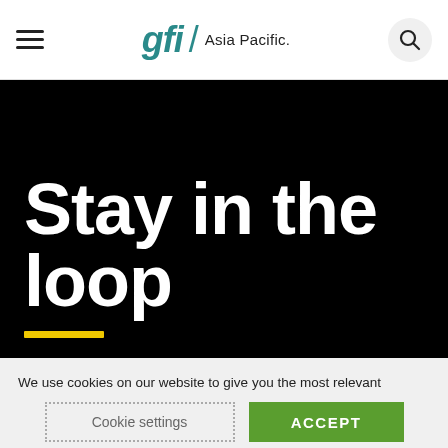gfi / Asia Pacific
Stay in the loop
We use cookies on our website to give you the most relevant experience by remembering your preferences and repeat visits. By clicking “Accept”, you consent to the use of ALL the cookies. However you may visit Cookie Settings to provide a controlled consent.
Cookie settings | ACCEPT